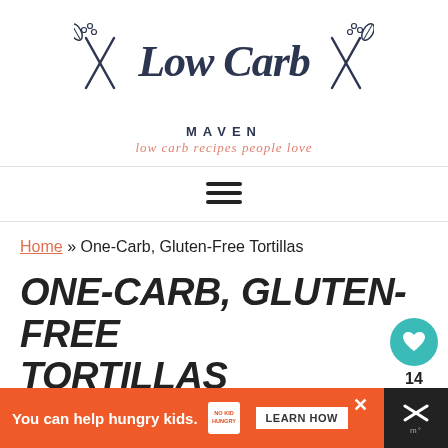[Figure (logo): Low Carb Maven logo with decorative fork/spoon and leaf motifs, site tagline 'low carb recipes people love']
[Figure (other): Hamburger/menu icon (three horizontal lines) for navigation]
Home » One-Carb, Gluten-Free Tortillas
ONE-CARB, GLUTEN-FREE TORTILLAS
By Kim Hardesty
[Figure (other): Teal circular favorite/heart button with count 14]
[Figure (other): Orange advertisement banner: 'You can help hungry kids. NO KID HUNGRY LEARN HOW']